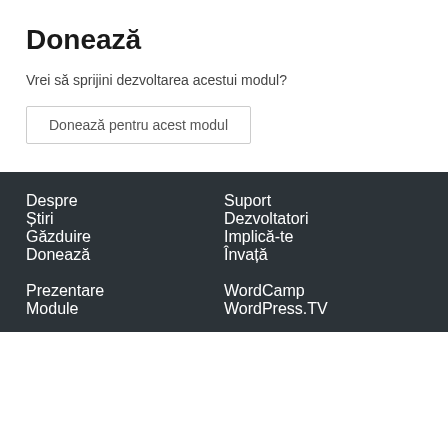Donează
Vrei să sprijini dezvoltarea acestui modul?
Donează pentru acest modul
Despre
Suport
Știri
Dezvoltatori
Găzduire
Implică-te
Donează
Învață
Prezentare
WordCamp
Module
WordPress.TV